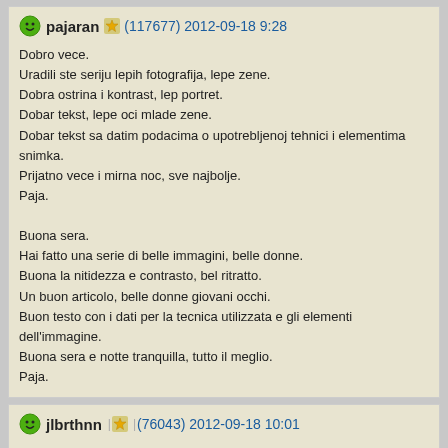pajaran (117677) 2012-09-18 9:28
Dobro vece.
Uradili ste seriju lepih fotografija, lepe zene.
Dobra ostrina i kontrast, lep portret.
Dobar tekst, lepe oci mlade zene.
Dobar tekst sa datim podacima o upotrebljenoj tehnici i elementima snimka.
Prijatno vece i mirna noc, sve najbolje.
Paja.

Buona sera.
Hai fatto una serie di belle immagini, belle donne.
Buona la nitidezza e contrasto, bel ritratto.
Un buon articolo, belle donne giovani occhi.
Buon testo con i dati per la tecnica utilizzata e gli elementi dell'immagine.
Buona sera e notte tranquilla, tutto il meglio.
Paja.
jlbrthnn (76043) 2012-09-18 10:01
Ciao Mario,
Volentieri lasciato sedurre da questo "religioso", bel viso. Il ritratto и notevole. la
buongiorno
Amicalement
Јол!